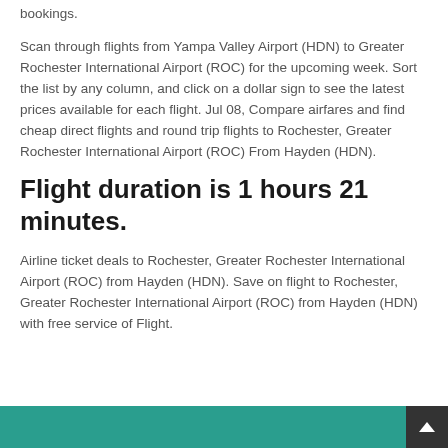bookings.
Scan through flights from Yampa Valley Airport (HDN) to Greater Rochester International Airport (ROC) for the upcoming week. Sort the list by any column, and click on a dollar sign to see the latest prices available for each flight. Jul 08, Compare airfares and find cheap direct flights and round trip flights to Rochester, Greater Rochester International Airport (ROC) From Hayden (HDN).
Flight duration is 1 hours 21 minutes.
Airline ticket deals to Rochester, Greater Rochester International Airport (ROC) from Hayden (HDN). Save on flight to Rochester, Greater Rochester International Airport (ROC) from Hayden (HDN) with free service of Flight.